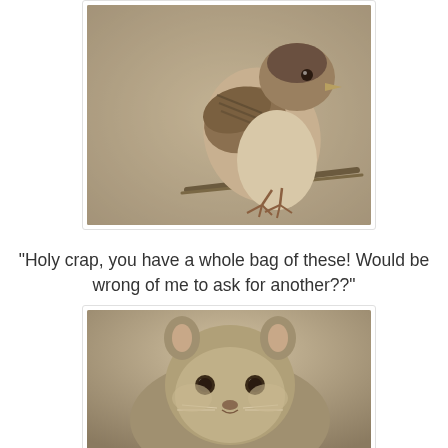[Figure (photo): Close-up photo of a house sparrow perched on a thin branch, viewed from the side/back. The bird has brown and tan feathers with darker wing markings. The background is blurred beige/gray.]
"Holy crap, you have a whole bag of these! Would be wrong of me to ask for another??"
[Figure (photo): Close-up photo of a squirrel facing the camera directly, showing its face, ears, and front body. The squirrel has gray-brown fur and dark eyes. Background is blurred.]